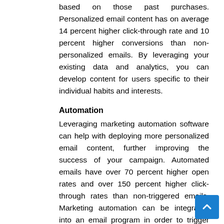based on those past purchases. Personalized email content has on average 14 percent higher click-through rate and 10 percent higher conversions than non-personalized emails. By leveraging your existing data and analytics, you can develop content for users specific to their individual habits and interests.
Automation
Leveraging marketing automation software can help with deploying more personalized email content, further improving the success of your campaign. Automated emails have over 70 percent higher open rates and over 150 percent higher click-through rates than non-triggered emails. Marketing automation can be integrated into an email program in order to trigger that an email be set to an individual based on specific behavior. For example, you could create behavioral indicators so that when a lead reaches a certain stage of the sales cycle an automated message is sent prompting them to the next activity in the process. Automated